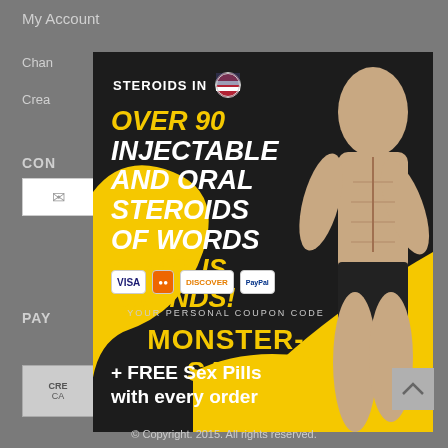My Account
Chan
Crea
CON
[Figure (infographic): Advertisement popup for steroids website showing a muscular bodybuilder on yellow and black background. Text reads: STEROIDS IN [US flag] / OVER 90 INJECTABLE AND ORAL STEROIDS OF WORDS FAMOUS BRANDS! / Payment logos: VISA, Mastercard, Discover, PayPal / YOUR PERSONAL COUPON CODE / MONSTER-SALE / + FREE Sex Pills with every order]
PAY
© Copyright. 2015. All rights reserved.